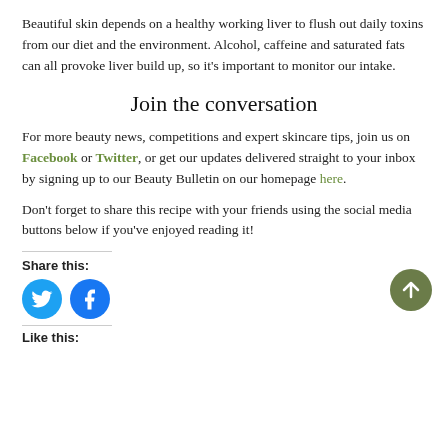Beautiful skin depends on a healthy working liver to flush out daily toxins from our diet and the environment. Alcohol, caffeine and saturated fats can all provoke liver build up, so it's important to monitor our intake.
Join the conversation
For more beauty news, competitions and expert skincare tips, join us on Facebook or Twitter, or get our updates delivered straight to your inbox by signing up to our Beauty Bulletin on our homepage here.
Don't forget to share this recipe with your friends using the social media buttons below if you've enjoyed reading it!
Share this:
[Figure (illustration): Twitter and Facebook social share circular buttons (cyan and blue), and an olive-green circular up-arrow button in bottom right]
Like this: